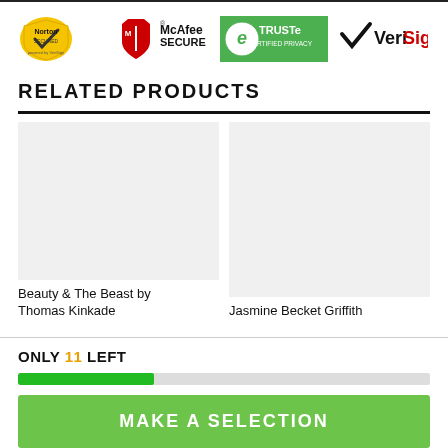[Figure (logo): Security trust badges: Norton Secured powered by VeriSign, McAfee Secure, TRUSTe Certified Privacy, VeriSign]
RELATED PRODUCTS
Beauty & The Beast by Thomas Kinkade
Jasmine Becket Griffith
ONLY 11 LEFT
MAKE A SELECTION